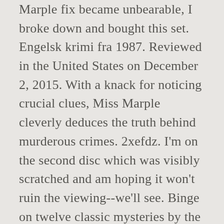Marple fix became unbearable, I broke down and bought this set. Engelsk krimi fra 1987. Reviewed in the United States on December 2, 2015. With a knack for noticing crucial clues, Miss Marple cleverly deduces the truth behind murderous crimes. 2xefdz. I'm on the second disc which was visibly scratched and am hoping it won't ruin the viewing--we'll see. Binge on twelve classic mysteries by the Queen of Crime, Agatha Christie, or savor them slowly. Die Autorin selbst war schon früh auf die Charakterdarstellerin aufmerksam geworden. Enjoy the first novels that brought the world two of Agatha Christies' most enduring detectives: Miss Marple and Hercule Poirot. Directed by Christopher Petit with screenplay